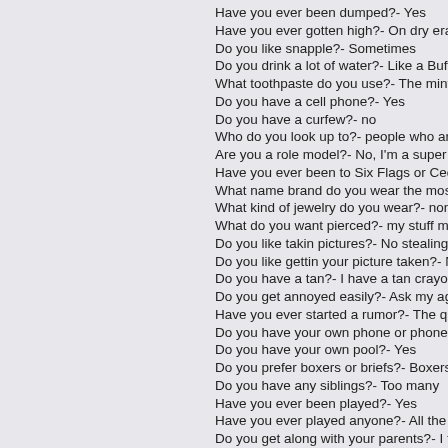Have you ever been dumped?- Yes
Have you ever gotten high?- On dry erase
Do you like snapple?- Sometimes
Do you drink a lot of water?- Like a Buffa
What toothpaste do you use?- The minty
Do you have a cell phone?- Yes
Do you have a curfew?- no
Who do you look up to?- people who are t
Are you a role model?- No, I'm a super m
Have you ever been to Six Flags or Ceda
What name brand do you wear the most?
What kind of jewelry do you wear?- none
What do you want pierced?- my stuff mon
Do you like takin pictures?- No stealing is
Do you like gettin your picture taken?- No
Do you have a tan?- I have a tan crayon
Do you get annoyed easily?- Ask my agai
Have you ever started a rumor?- The que
Do you have your own phone or phone lin
Do you have your own pool?- Yes
Do you prefer boxers or briefs?- Boxers
Do you have any siblings?- Too many
Have you ever been played?- Yes
Have you ever played anyone?- All the tim
Do you get along with your parents?- I thi
How do you vent your anger?- doing sum